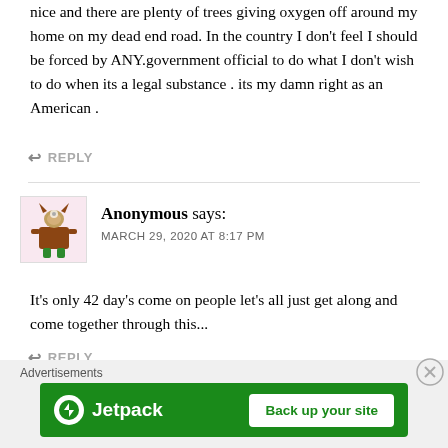nice and there are plenty of trees giving oxygen off around my home on my dead end road. In the country I don't feel I should be forced by ANY.government official to do what I don't wish to do when its a legal substance . its my damn right as an American .
↩ REPLY
Anonymous says:
MARCH 29, 2020 AT 8:17 PM
It's only 42 day's come on people let's all just get along and come together through this...
↩ REPLY
Advertisements
[Figure (screenshot): Jetpack advertisement banner with green background showing Jetpack logo and 'Back up your site' button]